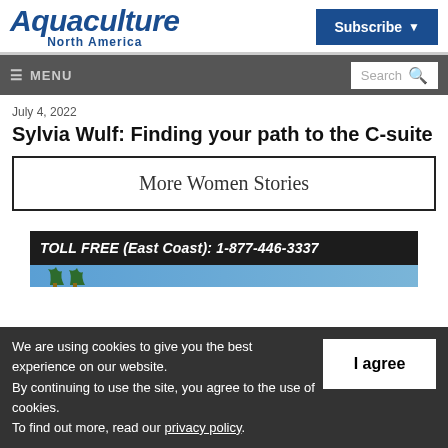Aquaculture North America
Subscribe
≡ MENU
Search
July 4, 2022
Sylvia Wulf: Finding your path to the C-suite
More Women Stories
[Figure (infographic): Advertisement banner: TOLL FREE (East Coast): 1-877-446-3337 on dark background with blue gradient]
We are using cookies to give you the best experience on our website.
By continuing to use the site, you agree to the use of cookies.
To find out more, read our privacy policy.
I agree